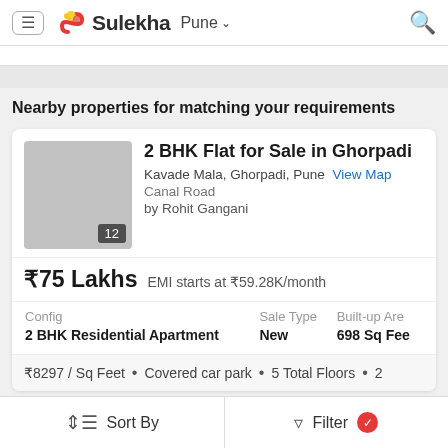Sulekha  Pune
Nearby properties for matching your requirements
2 BHK Flat for Sale in Ghorpadi
Kavade Mala, Ghorpadi, Pune  View Map
Canal Road
by Rohit Gangani
₹75 Lakhs  EMI starts at ₹59.28K/month
| Config | Sale Type | Built-up Are |
| --- | --- | --- |
| 2 BHK Residential Apartment | New | 698 Sq Fee |
₹8297 / Sq Feet  •  Covered car park  •  5 Total Floors  •  2
Sort By    Filter